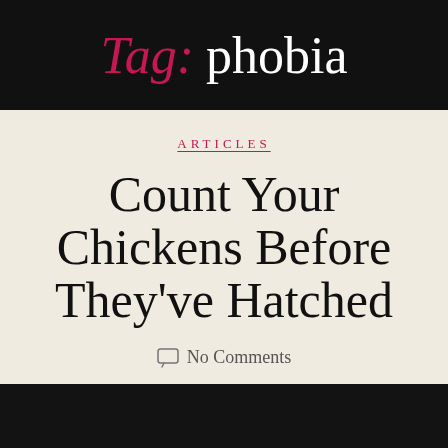Tag: phobia
ARTICLES
Count Your Chickens Before They've Hatched
No Comments
[Figure (photo): Dark image strip at bottom of page]